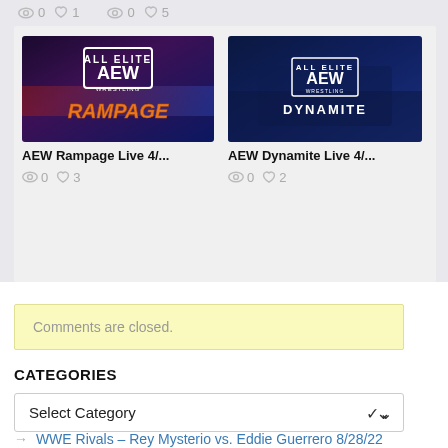0 ♥ 1   0 ♥ 5
[Figure (photo): AEW Rampage logo card thumbnail with dark purple/blue gradient background]
AEW Rampage Live 4/...
0 ♥ 3
[Figure (photo): AEW Dynamite logo card thumbnail with dark blue background and arena]
AEW Dynamite Live 4/...
0 ♥ 2
Comments are closed.
CATEGORIES
Select Category
→ WWE Rivals – Rey Mysterio vs. Eddie Guerrero 8/28/22